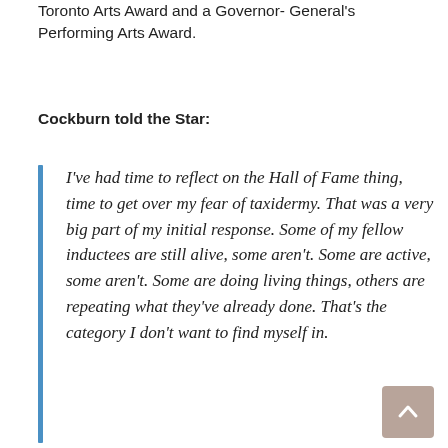Toronto Arts Award and a Governor- General's Performing Arts Award.
Cockburn told the Star:
I've had time to reflect on the Hall of Fame thing, time to get over my fear of taxidermy. That was a very big part of my initial response. Some of my fellow inductees are still alive, some aren't. Some are active, some aren't. Some are doing living things, others are repeating what they've already done. That's the category I don't want to find myself in.